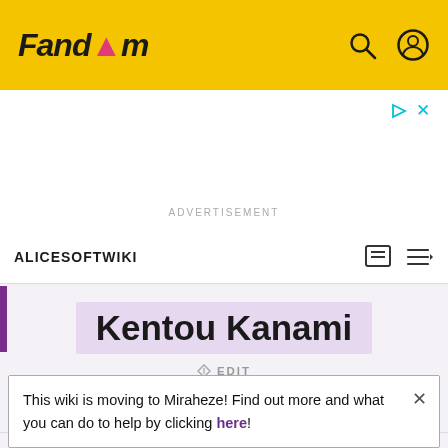Fandom
ADVERTISEMENT
ALICESOFTWIKI
Kentou Kanami
EDIT
This wiki is moving to Miraheze! Find out more and what you can do to help by clicking here!